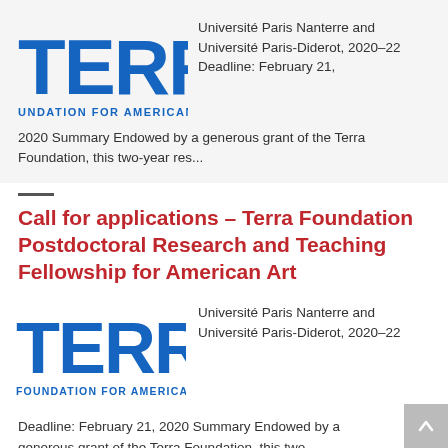[Figure (logo): Terra Foundation for American Art logo (partial, top card) — bold blue TERRA letters with 'UNDATION FOR AMERICAN' below in blue]
Université Paris Nanterre and Université Paris-Diderot, 2020–22 Deadline: February 21, 2020 Summary Endowed by a generous grant of the Terra Foundation, this two-year res...
Call for applications – Terra Foundation Postdoctoral Research and Teaching Fellowship for American Art
[Figure (logo): Terra Foundation for American Art logo — bold blue TERRA letters with 'FOUNDATION FOR AMERICAN AR' below in blue]
Université Paris Nanterre and Université Paris-Diderot, 2020–22
Deadline: February 21, 2020 Summary Endowed by a generous grant of the Terra Foundation, this two-